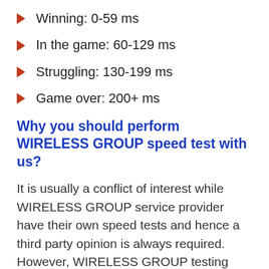Winning: 0-59 ms
In the game: 60-129 ms
Struggling: 130-199 ms
Game over: 200+ ms
Why you should perform WIRELESS GROUP speed test with us?
It is usually a conflict of interest while WIRELESS GROUP service provider have their own speed tests and hence a third party opinion is always required. However, WIRELESS GROUP testing speed with the third party ensures you that whether WIRELESS GROUP is reliable and is not overcharging you. speed test with internet speedtest tool is absolutely